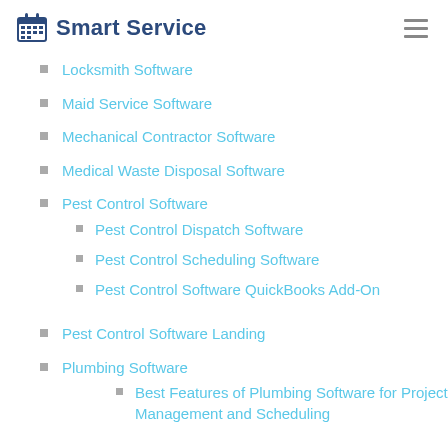Smart Service
Locksmith Software
Maid Service Software
Mechanical Contractor Software
Medical Waste Disposal Software
Pest Control Software
Pest Control Dispatch Software
Pest Control Scheduling Software
Pest Control Software QuickBooks Add-On
Pest Control Software Landing
Plumbing Software
Best Features of Plumbing Software for Project Management and Scheduling